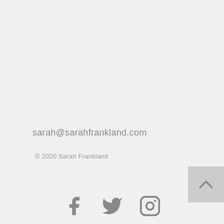sarah@sarahfrankland.com
© 2020 Sarah Frankland
[Figure (other): Back to top button with upward chevron arrow on grey background]
[Figure (other): Social media icons: Facebook, Twitter, Instagram]